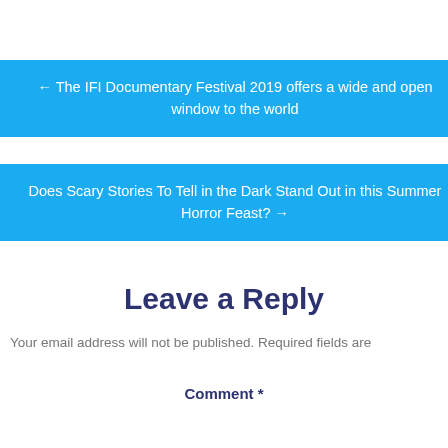← The IFI Documentary Festival 2019 offers a wide and open window to the world
Does Scary Stories To Tell in the Dark Stand Out in this Summer Horror Feast? →
Leave a Reply
Your email address will not be published. Required fields are
Comment *